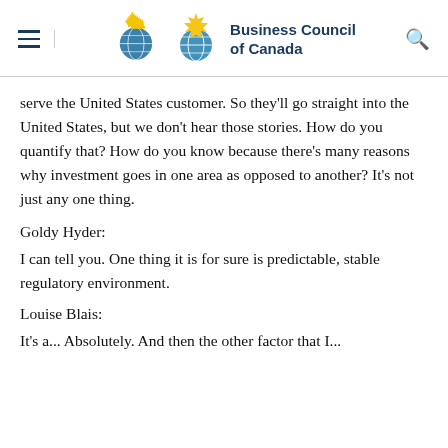Business Council of Canada
serve the United States customer. So they'll go straight into the United States, but we don't hear those stories. How do you quantify that? How do you know because there's many reasons why investment goes in one area as opposed to another? It's not just any one thing.
Goldy Hyder:
I can tell you. One thing it is for sure is predictable, stable regulatory environment.
Louise Blais:
It's a... Absolutely. And then the other factor that I...